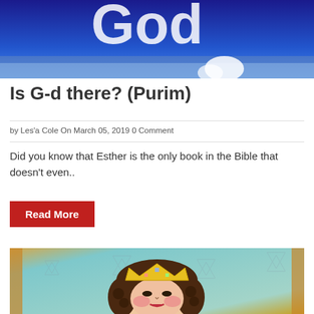[Figure (photo): Hero banner image with blue sky and text 'God' visible at top]
Is G-d there? (Purim)
by Les'a Cole On March 05, 2019 0 Comment
Did you know that Esther is the only book in the Bible that doesn't even..
Read More
[Figure (illustration): Colorful folk-art painting of a queen wearing a golden crown with curly dark hair, rosy cheeks, and Star of David patterns in background]